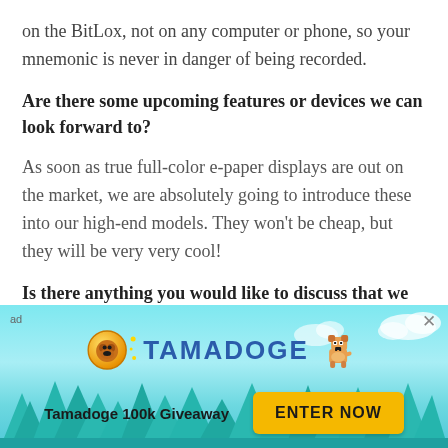on the BitLox, not on any computer or phone, so your mnemonic is never in danger of being recorded.
Are there some upcoming features or devices we can look forward to?
As soon as true full-color e-paper displays are out on the market, we are absolutely going to introduce these into our high-end models. They won't be cheap, but they will be very very cool!
Is there anything you would like to discuss that we have not touched on yet?
[Figure (infographic): Tamadoge advertisement banner with teal/sky background, pixel-art dog, Tamadoge coin logo, text 'Tamadoge 100k Giveaway' and 'ENTER NOW' button. Labeled 'ad'.]